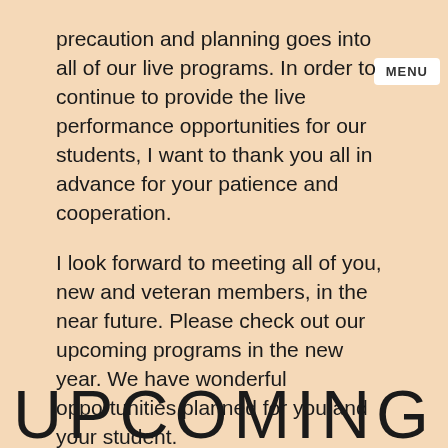precaution and planning goes into all of our live programs. In order to continue to provide the live performance opportunities for our students, I want to thank you all in advance for your patience and cooperation.
I look forward to meeting all of you, new and veteran members, in the near future. Please check out our upcoming programs in the new year. We have wonderful opportunities planned for you and your student.
Have a musical 2022!
Christine Oates
UPCOMING